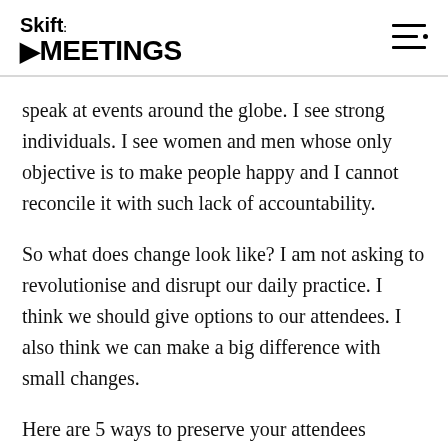Skift MEETINGS
speak at events around the globe. I see strong individuals. I see women and men whose only objective is to make people happy and I cannot reconcile it with such lack of accountability.
So what does change look like? I am not asking to revolutionise and disrupt our daily practice. I think we should give options to our attendees. I also think we can make a big difference with small changes.
Here are 5 ways to preserve your attendees wellbeing while giving them the choice to ‘let go’.